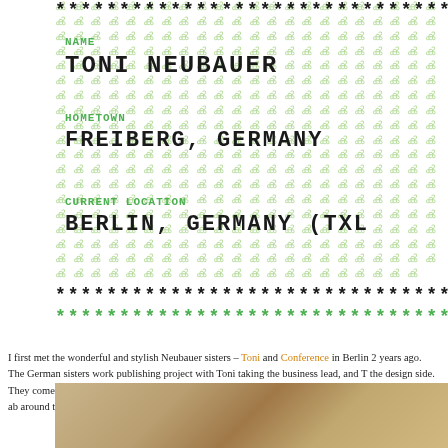********************************
NAME
TONI NEUBAUER
HOMETOWN
FREIBERG, GERMANY
CURRENT LOCATION
BERLIN, GERMANY (TXL
********************************
********************************
I first met the wonderful and stylish Neubauer sisters – Toni and Conference in Berlin 2 years ago. The German sisters work publishing project with Toni taking the business lead, and T the design side. They come from a creative family, as their m (for the magazine too!). The last issue of the mag was all ab around the world. Stay tuned for their next project – CVmag
[Figure (photo): Photo of a tan/beige leather bag or garment, partially visible at bottom of page]